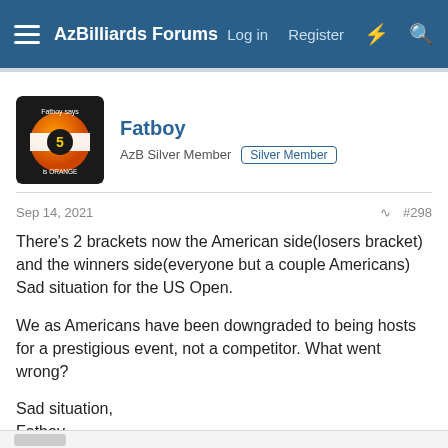AzBilliards Forums  Log in  Register
Fatboy
AzB Silver Member  Silver Member
Sep 14, 2021  #298
There's 2 brackets now the American side(losers bracket) and the winners side(everyone but a couple Americans) Sad situation for the US Open.

We as Americans have been downgraded to being hosts for a prestigious event, not a competitor. What went wrong?

Sad situation,
Fatboy

PS: Congrats to the rest of the world!